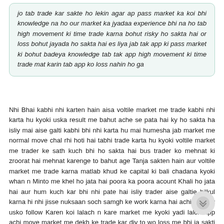jo tab trade kar sakte ho lekin agar ap pass market ka koi bhi knowledge na ho our market ka jyadaa experience bhi na ho tab high movement ki time trade karna bohut risky ho sakta hai or loss bohut jayada ho sakta hai es liya jab tak app ki pass market ki bohut badeya knowledge tab tak app high movement ki time trade mat karin tab app ko loss nahin ho ga
Nhi Bhai kabhi nhi karten hain aisa voltile market me trade kabhi nhi karta hu kyoki uska result me bahut ache se pata hai ky ho sakta ha isliy mai aise galti kabhi bhi nhi karta hu mai humesha jab market me normal move chal rhi hoti hai tabhi trade karta hu kyoki voltile market me trader ke sath kuch bhi ho sakta hai bus trader ko mehnat ki zroorat hai mehnat karenge to bahut age Tanja sakten hain aur voltile market me trade karna matlab khud ke capital ki bali chadana kyoki whan n Minto me khel ho jata hai poora ka poora acount Khali ho jata hai aur hum kuch kar bhi nhi pate hai isliy trader aise galtie bilkul karna hi nhi jisse nuksaan soch samgh ke work karna hai achi stregey usko follow Karen koi lalach n kare market me kyoki yadi lalch app achi move market me dekh ke trade kar diy to wo loss me bhi ja sakti hai trade iska bhi dyaan zroor rakhe. Kyoki market ka koi bharosha nhi hota hai kha kise kab move kar jay to. Thoda sa savdhan to zroor rahna chahiy yadi app loss bhi karna chahte hain aur yadi aacha risk leke trade karna chahte hain to voltile market se acha kuch option bhi nhi hai trade krne ka bahut hi ache se kar lenge zroori hai maj to humesha se ache se work kia karta hu kabhi bhi aise market me dekh order nhi lagata hu jab sure rahunga trade ko leke tabhi hu